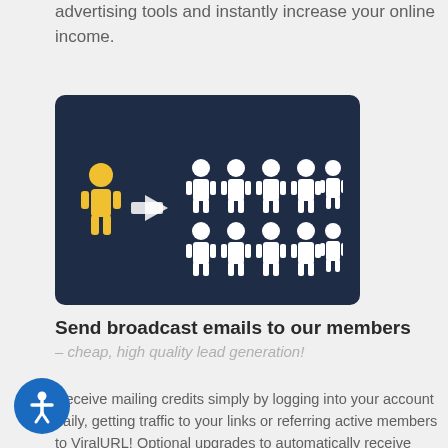advertising tools and instantly increase your online income.
[Figure (illustration): Dark navy blue rounded rectangle with a yellow person icon on the left, a right-pointing arrow, and ten white person icons arranged in two rows of five on the right, representing one person reaching many.]
Send broadcast emails to our members – cheap, high quality lead generation!
Receive mailing credits simply by logging into your account daily, getting traffic to your links or referring active members to ViralURL! Optional upgrades to automatically receive between 300 and 2,300 mailing credits extra every day or to email 3,000 to 6,000 fellow marketers every 3 days and generate qualified leads at a very low cost. A must-have for any internet network marketer!